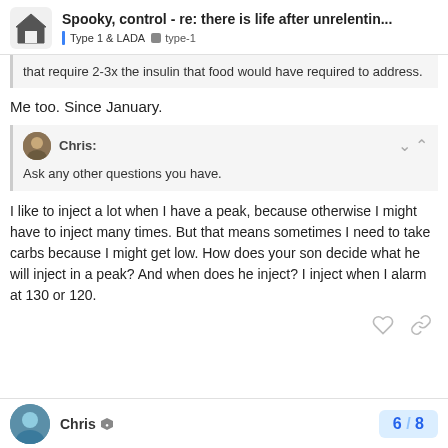Spooky, control - re: there is life after unrelentin... | Type 1 & LADA | type-1
that require 2-3x the insulin that food would have required to address.
Me too. Since January.
Chris: Ask any other questions you have.
I like to inject a lot when I have a peak, because otherwise I might have to inject many times. But that means sometimes I need to take carbs because I might get low. How does your son decide what he will inject in a peak? And when does he inject? I inject when I alarm at 130 or 120.
Chris